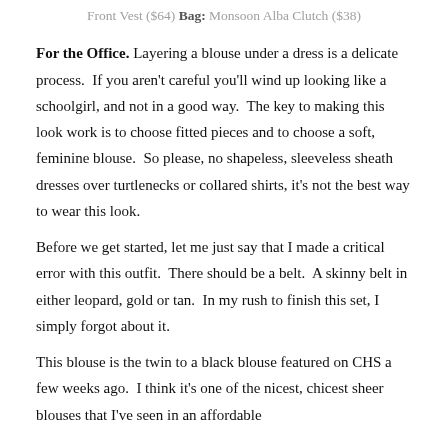Front Vest ($64) Bag: Monsoon Alba Clutch ($38)
For the Office. Layering a blouse under a dress is a delicate process.  If you aren't careful you'll wind up looking like a schoolgirl, and not in a good way.  The key to making this look work is to choose fitted pieces and to choose a soft, feminine blouse.  So please, no shapeless, sleeveless sheath dresses over turtlenecks or collared shirts, it's not the best way to wear this look.
Before we get started, let me just say that I made a critical error with this outfit.  There should be a belt.  A skinny belt in either leopard, gold or tan.  In my rush to finish this set, I simply forgot about it.
This blouse is the twin to a black blouse featured on CHS a few weeks ago.  I think it's one of the nicest, chicest sheer blouses that I've seen in an affordable